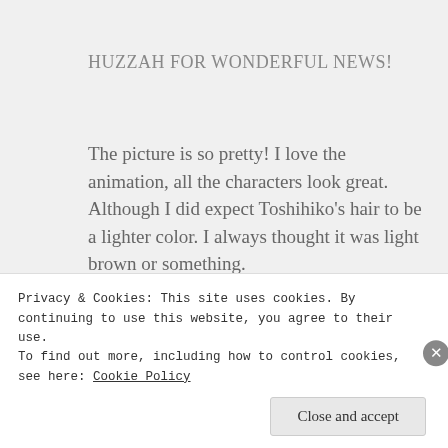HUZZAH FOR WONDERFUL NEWS!
The picture is so pretty! I love the animation, all the characters look great. Although I did expect Toshihiko's hair to be a lighter color. I always thought it was light brown or something.
★ Like
Reply
Privacy & Cookies: This site uses cookies. By continuing to use this website, you agree to their use.
To find out more, including how to control cookies, see here: Cookie Policy
Close and accept